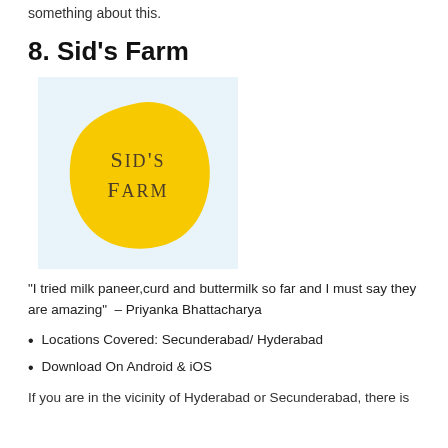something about this.
8. Sid's Farm
[Figure (logo): Sid's Farm logo — a yellow organic blob shape with the text 'Sid's Farm' in dark serif lettering on a light blue background.]
“I tried milk paneer,curd and buttermilk so far and I must say they are amazing” – Priyanka Bhattacharya
Locations Covered: Secunderabad/ Hyderabad
Download On Android & iOS
If you are in the vicinity of Hyderabad or Secunderabad, there is